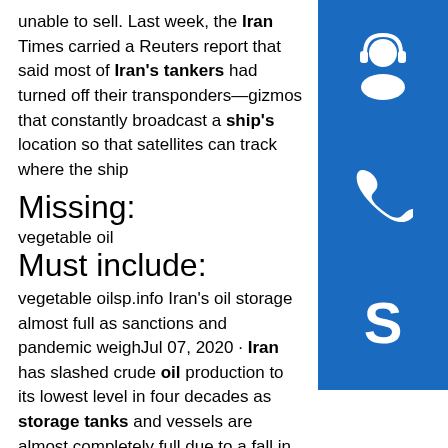unable to sell. Last week, the Iran Times carried a Reuters report that said most of Iran's tankers had turned off their transponders—gizmos that constantly broadcast a ship's location so that satellites can track where the ship
[Figure (illustration): Blue square icon with a headset/customer support person silhouette in white]
[Figure (illustration): Blue square icon with a telephone handset in white]
[Figure (illustration): Blue square icon with Skype logo S in white]
Missing:
vegetable oil
Must include:
vegetable oilsp.info Iran's oil storage almost full as sanctions and pandemic weighJul 07, 2020 · Iran has slashed crude oil production to its lowest level in four decades as storage tanks and vessels are almost completely full due to a fall in exports and refinery run cuts caused by the ...
Can Iran Exploit Its Remaining Oil Wealth? | The National ...
Oct 21, 2020 · Iran is